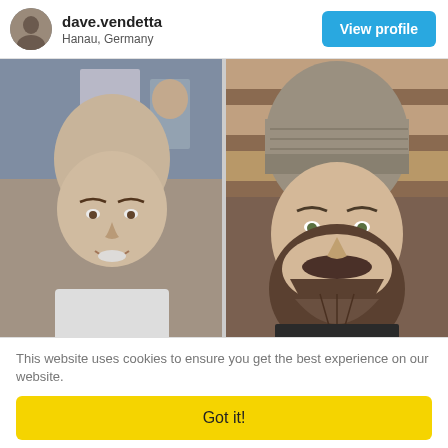dave.vendetta — Hanau, Germany — View profile
[Figure (photo): Side-by-side before/after photos: left shows a bald smiling young man in a white shirt in a crowd; right shows the same man with a full beard wearing a grey beanie hat, brick wall background.]
This website uses cookies to ensure you get the best experience on our website.
Got it!